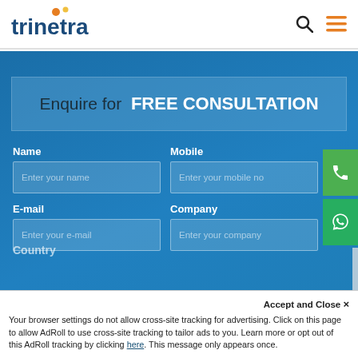[Figure (logo): Trinetra logo with orange/yellow dots above the letter 'i' and 'n']
Enquire for FREE CONSULTATION
Name
Enter your name
Mobile
Enter your mobile no
E-mail
Enter your e-mail
Company
Enter your company
Country
Accept and Close ✕
Your browser settings do not allow cross-site tracking for advertising. Click on this page to allow AdRoll to use cross-site tracking to tailor ads to you. Learn more or opt out of this AdRoll tracking by clicking here. This message only appears once.